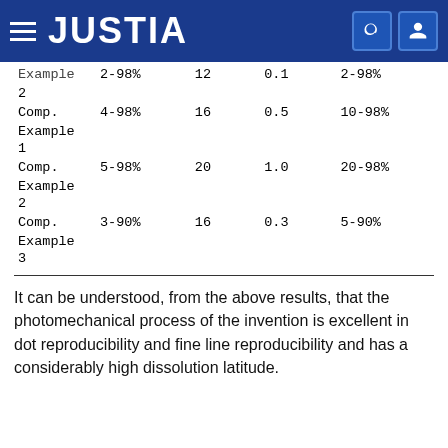JUSTIA
| Example | 2-98% | 12 | 0.1 | 2-98% |
| 2 |  |  |  |  |
| Comp. | 4-98% | 16 | 0.5 | 10-98% |
| Example |  |  |  |  |
| 1 |  |  |  |  |
| Comp. | 5-98% | 20 | 1.0 | 20-98% |
| Example |  |  |  |  |
| 2 |  |  |  |  |
| Comp. | 3-90% | 16 | 0.3 | 5-90% |
| Example |  |  |  |  |
| 3 |  |  |  |  |
It can be understood, from the above results, that the photomechanical process of the invention is excellent in dot reproducibility and fine line reproducibility and has a considerably high dissolution latitude.